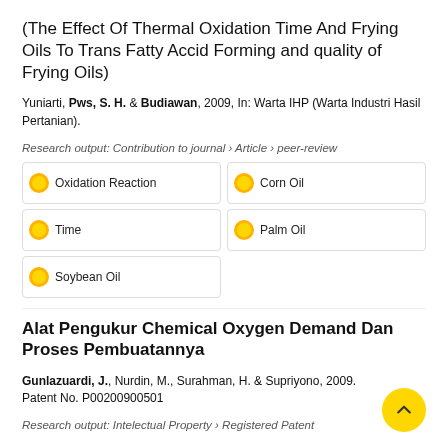(The Effect Of Thermal Oxidation Time And Frying Oils To Trans Fatty Accid Forming and quality of Frying Oils)
Yuniarti, Pws, S. H. & Budiawan, 2009, In: Warta IHP (Warta Industri Hasil Pertanian).
Research output: Contribution to journal › Article › peer-review
Oxidation Reaction
Corn Oil
Time
Palm Oil
Soybean Oil
Alat Pengukur Chemical Oxygen Demand Dan Proses Pembuatannya
Gunlazuardi, J., Nurdin, M., Surahman, H. & Supriyono, 2009. Patent No. P00200900501
Research output: Intelectual Property › Registered Patent